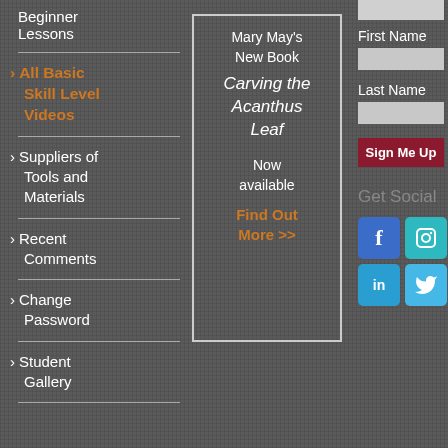Beginner Lessons
> All Basic Skill Level Videos
> Suppliers of Tools and Materials
> Recent Comments
> Change Password
> Student Gallery
[Figure (other): Book promotion box with border, showing Mary May's New Book 'Carving the Acanthus Leaf', Now available, with Find Out More >> link]
First Name
Last Name
Sign Me Up
Get Social
[Figure (infographic): Social media icons: Facebook (blue), Instagram (teal), LinkedIn (blue), Twitter (light blue)]